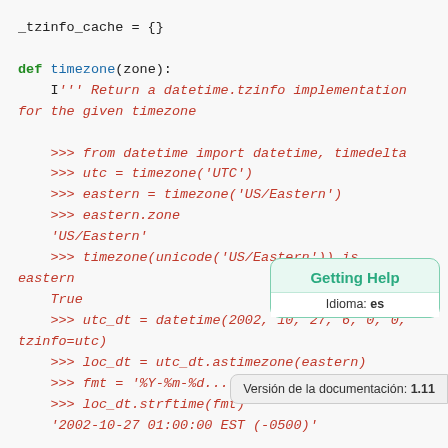_tzinfo_cache = {}

def timezone(zone):
    I''' Return a datetime.tzinfo implementation for the given timezone

    >>> from datetime import datetime, timedelta
    >>> utc = timezone('UTC')
    >>> eastern = timezone('US/Eastern')
    >>> eastern.zone
    'US/Eastern'
    >>> timezone(unicode('US/Eastern')) is eastern
    True
    >>> utc_dt = datetime(2002, 10, 27, 6, 0, 0, tzinfo=utc)
    >>> loc_dt = utc_dt.astimezone(eastern)
    >>> fmt = '%Y-%m-%d...
    >>> loc_dt.strftime(fmt)
    '2002-10-27 01:00:00 EST (-0500)'
Getting Help
Idioma: es
Versión de la documentación: 1.11